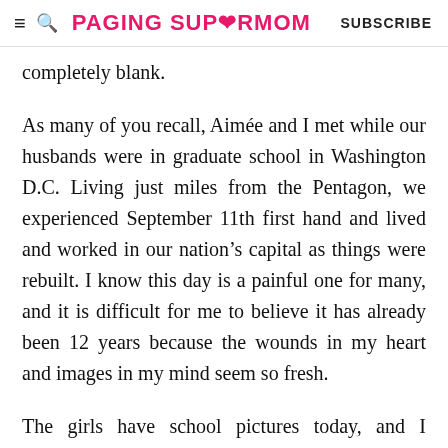≡ 🔍 PAGING SUPERMOM   SUBSCRIBE
completely blank.
As many of you recall, Aimée and I met while our husbands were in graduate school in Washington D.C. Living just miles from the Pentagon, we experienced September 11th first hand and lived and worked in our nation's capital as things were rebuilt. I know this day is a painful one for many, and it is difficult for me to believe it has already been 12 years because the wounds in my heart and images in my mind seem so fresh.
The girls have school pictures today, and I remember when they brought home the